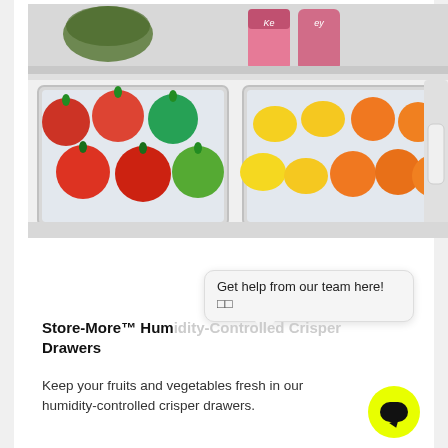[Figure (photo): Open refrigerator crisper drawer section showing two clear plastic drawers: left drawer contains red apples and green apples, right drawer contains lemons and oranges. Above the drawers are cans visible through glass shelf.]
Get help from our team here!
□□
Store-More™ Humidity-Controlled Crisper Drawers
Keep your fruits and vegetables fresh in our humidity-controlled crisper drawers.